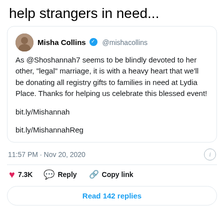help strangers in need...
[Figure (screenshot): Tweet from Misha Collins (@mishacollins) with verified badge. Tweet text: As @Shoshannah7 seems to be blindly devoted to her other, "legal" marriage, it is with a heavy heart that we'll be donating all registry gifts to families in need at Lydia Place. Thanks for helping us celebrate this blessed event! bit.ly/Mishannah bit.ly/MishannahReg. Timestamp: 11:57 PM · Nov 20, 2020. Likes: 7.3K. Actions: Reply, Copy link. Read 142 replies button.]